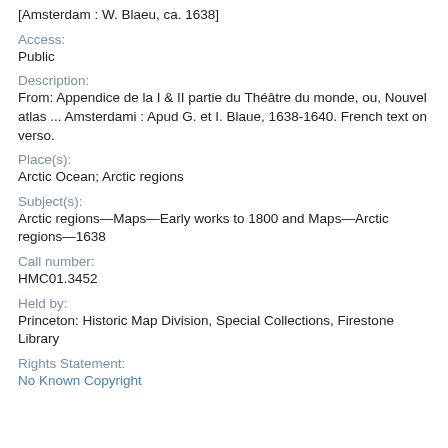[Amsterdam : W. Blaeu, ca. 1638]
Access:
Public
Description:
From: Appendice de la I & II partie du Théâtre du monde, ou, Nouvel atlas ... Amsterdami : Apud G. et I. Blaue, 1638-1640. French text on verso.
Place(s):
Arctic Ocean; Arctic regions
Subject(s):
Arctic regions—Maps—Early works to 1800 and Maps—Arctic regions—1638
Call number:
HMC01.3452
Held by:
Princeton: Historic Map Division, Special Collections, Firestone Library
Rights Statement:
No Known Copyright